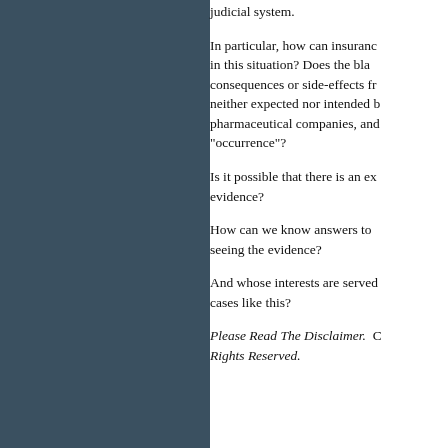judicial system.
In particular, how can insurance companies respond in this situation? Does the blame lie in the consequences or side-effects from medical treatments neither expected nor intended by their makers, pharmaceutical companies, and does this constitute an "occurrence"?
Is it possible that there is an excess of evidence?
How can we know answers to questions without seeing the evidence?
And whose interests are served by keeping secret cases like this?
Please Read The Disclaimer. Copyright. All Rights Reserved.